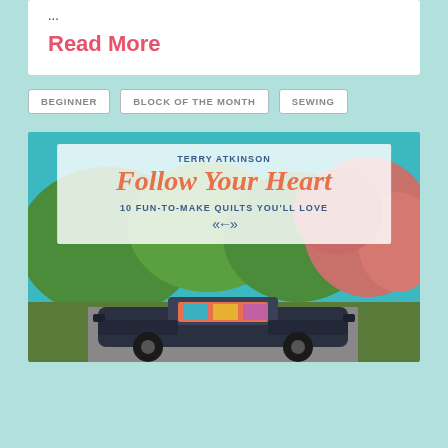...
Read More
BEGINNER
BLOCK OF THE MONTH
SEWING
[Figure (photo): Book cover for 'Follow Your Heart: 10 Fun-to-Make Quilts You'll Love' by Terry Atkinson, showing a convertible car in an autumnal garden scene with the book title overlaid on a semi-transparent white box.]